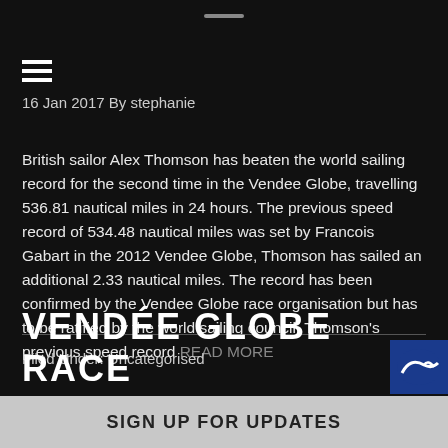16 Jan 2017 By stephanie
British sailor Alex Thomson has beaten the world sailing record for the second time in the Vendee Globe, travelling 536.81 nautical miles in 24 hours. The previous speed record of 534.48 nautical miles was set by Francois Gabart in the 2012 Vendee Globe, Thomson has sailed an additional 2.33 nautical miles. The record has been confirmed by the Vendee Globe race organisation but has to be ratified by the world sailing council. Thomson's previous speed record READ MORE
Filed Under: Uncategorised
VENDÉE GLOBE RACE
SIGN UP FOR UPDATES